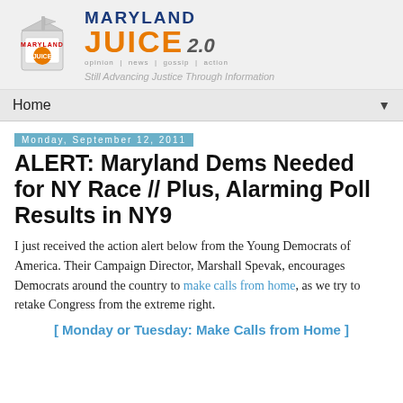[Figure (logo): Maryland Juice 2.0 blog logo with juice box illustration and tagline 'Still Advancing Justice Through Information']
Home ▼
Monday, September 12, 2011
ALERT: Maryland Dems Needed for NY Race // Plus, Alarming Poll Results in NY9
I just received the action alert below from the Young Democrats of America. Their Campaign Director, Marshall Spevak, encourages Democrats around the country to make calls from home, as we try to retake Congress from the extreme right.
[ Monday or Tuesday: Make Calls from Home ]